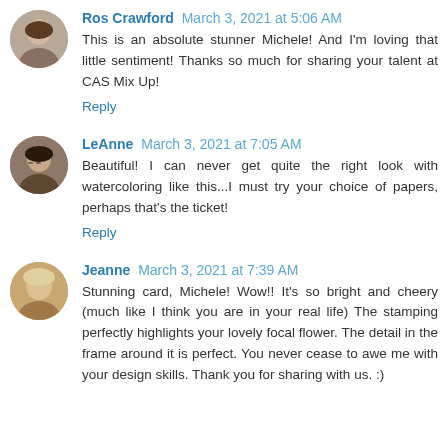[Figure (photo): Avatar photo of Ros Crawford, a woman with light hair]
Ros Crawford March 3, 2021 at 5:06 AM
This is an absolute stunner Michele! And I'm loving that little sentiment! Thanks so much for sharing your talent at CAS Mix Up!
Reply
[Figure (photo): Avatar photo of LeAnne, a woman with dark hair and glasses]
LeAnne March 3, 2021 at 7:05 AM
Beautiful! I can never get quite the right look with watercoloring like this...I must try your choice of papers, perhaps that's the ticket!
Reply
[Figure (photo): Avatar photo of Jeanne, a woman with short blonde hair]
Jeanne March 3, 2021 at 7:39 AM
Stunning card, Michele! Wow!! It's so bright and cheery (much like I think you are in your real life) The stamping perfectly highlights your lovely focal flower. The detail in the frame around it is perfect. You never cease to awe me with your design skills. Thank you for sharing with us. :)